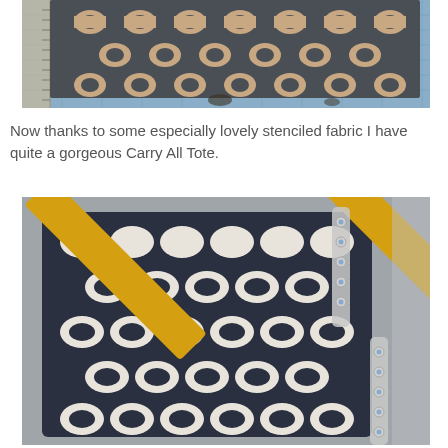[Figure (photo): Stenciled fabric with Moroccan/quatrefoil pattern in dark gray and beige/cream colors, laid on a blue cutting mat with metal ruler visible on the left side.]
Now thanks to some especially lovely stenciled fabric I have quite a gorgeous Carry All Tote.
[Figure (photo): Close-up of a finished Carry All Tote bag made from dark navy and white stenciled fabric with a Moroccan quatrefoil pattern, featuring gold/yellow fabric handles and a jeweled/beaded strap, photographed against a gray background.]